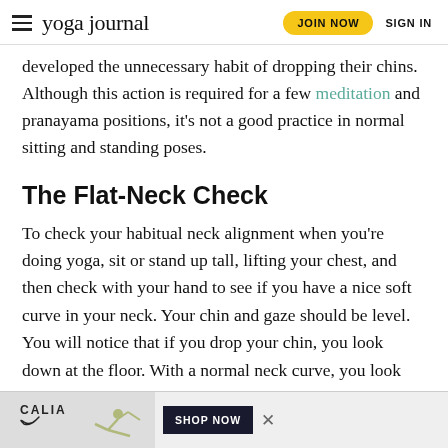yoga journal | JOIN NOW | SIGN IN
developed the unnecessary habit of dropping their chins. Although this action is required for a few meditation and pranayama positions, it's not a good practice in normal sitting and standing poses.
The Flat-Neck Check
To check your habitual neck alignment when you're doing yoga, sit or stand up tall, lifting your chest, and then check with your hand to see if you have a nice soft curve in your neck. Your chin and gaze should be level. You will notice that if you drop your chin, you look down at the floor. With a normal neck curve, you look straight ahead; if you were at the beach, you'd be look
[Figure (advertisement): CALIA brand advertisement banner with a woman doing yoga pose and SHOP NOW button]